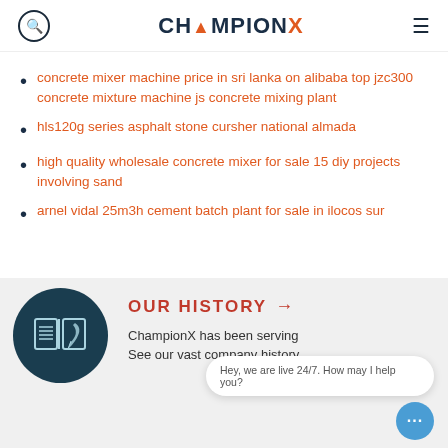ChampionX
concrete mixer machine price in sri lanka on alibaba top jzc300 concrete mixture machine js concrete mixing plant
hls120g series asphalt stone cursher national almada
high quality wholesale concrete mixer for sale 15 diy projects involving sand
arnel vidal 25m3h cement batch plant for sale in ilocos sur
OUR HISTORY →
ChampionX has been serving
See our vast company history
Hey, we are live 24/7. How may I help you?